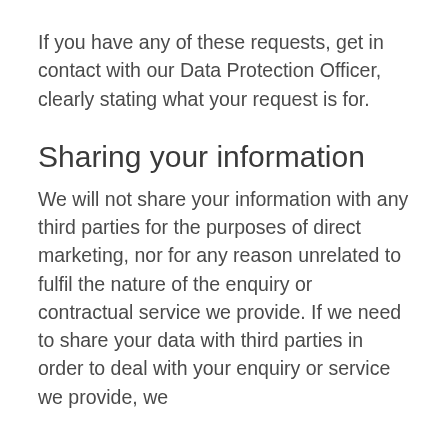If you have any of these requests, get in contact with our Data Protection Officer, clearly stating what your request is for.
Sharing your information
We will not share your information with any third parties for the purposes of direct marketing, nor for any reason unrelated to fulfil the nature of the enquiry or contractual service we provide. If we need to share your data with third parties in order to deal with your enquiry or service we provide, we will only do so for a reason that...